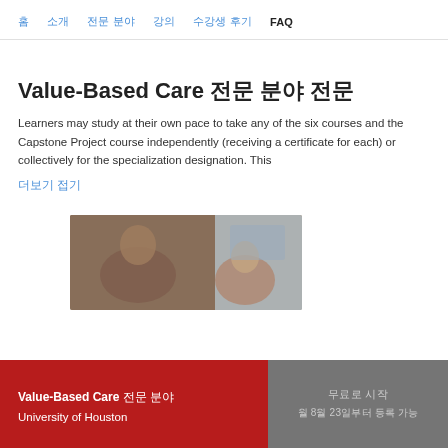홈  소개  전문 분야  강의  수강생 후기  FAQ
Value-Based Care 전문 분야 전문
Learners may study at their own pace to take any of the six courses and the Capstone Project course independently (receiving a certificate for each) or collectively for the specialization designation. This
더보기 접기
[Figure (photo): Two people studying together, one leaning over to help the other with work]
Value-Based Care 전문 분야 University of Houston | 무료로 시작 · 월 8월 23일부터 등록 가능